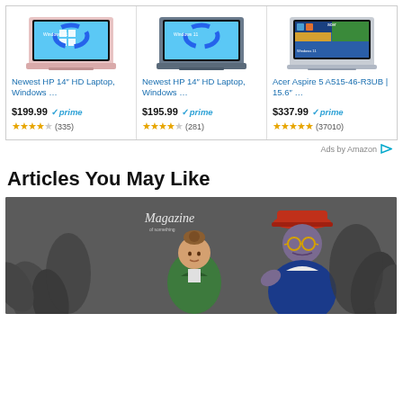[Figure (screenshot): Amazon ad: three laptop product cards with prices, prime badges, and star ratings]
Ads by Amazon
Articles You May Like
[Figure (illustration): Magazine illustration showing two cartoon characters - a woman in green jacket and a man in red hat and blue jacket]